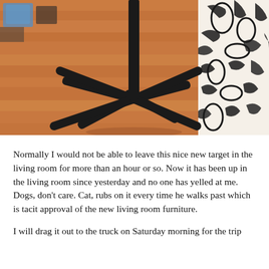[Figure (photo): Photo of a black metal stand with an X-shaped base sitting on a wooden floor. A black-and-white floral patterned rug is visible on the right side. Some items are visible in the background on the left.]
Normally I would not be able to leave this nice new target in the living room for more than an hour or so.  Now it has been up in the living room since yesterday and no one has yelled at me.  Dogs, don't care. Cat, rubs on it every time he walks past which is tacit approval of the new living room furniture.
I will drag it out to the truck on Saturday morning for the trip